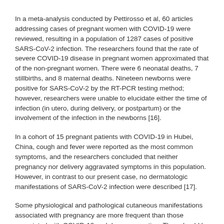In a meta-analysis conducted by Pettirosso et al, 60 articles addressing cases of pregnant women with COVID-19 were reviewed, resulting in a population of 1287 cases of positive SARS-CoV-2 infection. The researchers found that the rate of severe COVID-19 disease in pregnant women approximated that of the non-pregnant women. There were 6 neonatal deaths, 7 stillbirths, and 8 maternal deaths. Nineteen newborns were positive for SARS-CoV-2 by the RT-PCR testing method; however, researchers were unable to elucidate either the time of infection (in utero, during delivery, or postpartum) or the involvement of the infection in the newborns [16].
In a cohort of 15 pregnant patients with COVID-19 in Hubei, China, cough and fever were reported as the most common symptoms, and the researchers concluded that neither pregnancy nor delivery aggravated symptoms in this population. However, in contrast to our present case, no dermatologic manifestations of SARS-CoV-2 infection were described [17].
Some physiological and pathological cutaneous manifestations associated with pregnancy are more frequent than those associated with COVID-19 and deserve mention. They should be considered in a differential diagnosis and can be grouped into 5 categories